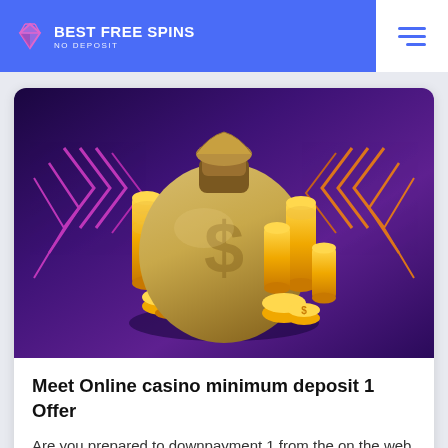BEST FREE SPINS NO DEPOSIT
[Figure (illustration): A gold money bag with a dollar sign, surrounded by stacked gold coins, set against a purple background with neon pink and orange arrow/chevron patterns.]
Meet Online casino minimum deposit 1 Offer
Are you prepared to downpayment 1 from the on the web internet casino as well as play? Can you apply this or should you place